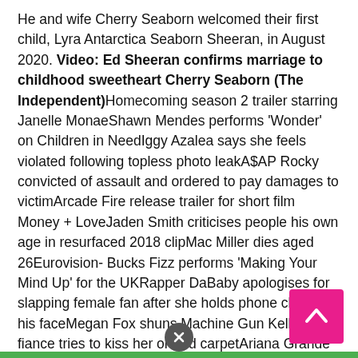He and wife Cherry Seaborn welcomed their first child, Lyra Antarctica Seaborn Sheeran, in August 2020. Video: Ed Sheeran confirms marriage to childhood sweetheart Cherry Seaborn (The Independent)Homecoming season 2 trailer starring Janelle MonaeShawn Mendes performs 'Wonder' on Children in NeedIggy Azalea says she feels violated following topless photo leakA$AP Rocky convicted of assault and ordered to pay damages to victimArcade Fire release trailer for short film Money + LoveJaden Smith criticises people his own age in resurfaced 2018 clipMac Miller dies aged 26Eurovision- Bucks Fizz performs 'Making Your Mind Up' for the UKRapper DaBaby apologises for slapping female fan after she holds phone close to his faceMegan Fox shuns Machine Gun Kelly after fiance tries to kiss her on red carpetAriana Grande brings out NSYNC during Coachella performanceCharlie Puth says Elton John told him his music 'sucked'Sir Elton John ends concert early after walking pneumonia diagnosisKaty Perry at CoachellaBarcelona opera singer Montserrat Caballe dies aged 85Gangnam St... Singapore The 30-year-old told Ellen DeGeneres las... [Being a dad] has actually given me purpose and....